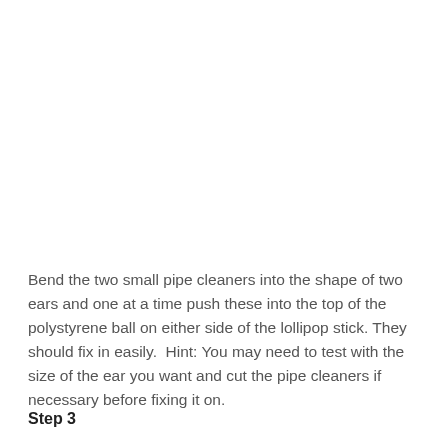Bend the two small pipe cleaners into the shape of two ears and one at a time push these into the top of the polystyrene ball on either side of the lollipop stick. They should fix in easily.  Hint: You may need to test with the size of the ear you want and cut the pipe cleaners if necessary before fixing it on.
Step 3